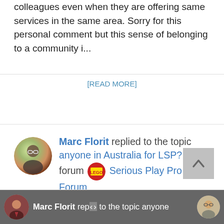colleagues even when they are offering same services in the same area. Sorry for this personal comment but this sense of belonging to a community i...
[READ MORE]
Marc Florit replied to the topic anyone in Australia for LSP? in the forum Serious Play Pro Forum
5 years ago
thanks Denise, looking forward to talk to you in more detail.
Marc Florit replied to the topic anyone in Australia for LSP?